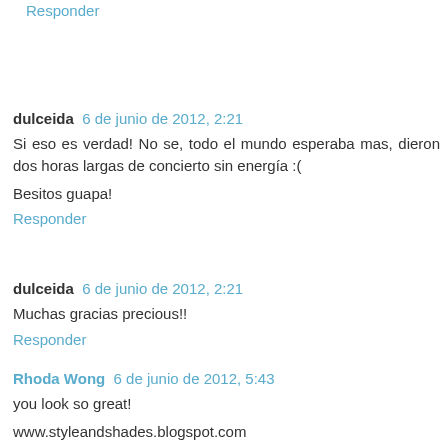Responder
dulceida  6 de junio de 2012, 2:21
Si eso es verdad! No se, todo el mundo esperaba mas, dieron dos horas largas de concierto sin energía :(

Besitos guapa!
Responder
dulceida  6 de junio de 2012, 2:21
Muchas gracias precious!!
Responder
Rhoda Wong  6 de junio de 2012, 5:43
you look so great!
www.styleandshades.blogspot.com